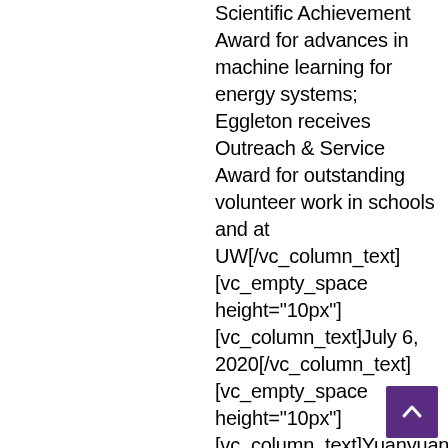Scientific Achievement Award for advances in machine learning for energy systems; Eggleton receives Outreach & Service Award for outstanding volunteer work in schools and at UW[/vc_column_text] [vc_empty_space height="10px"] [vc_column_text]July 6, 2020[/vc_column_text] [vc_empty_space height="10px"] [vc_column_text]Yuanyuan Shi and Erica Eggleton received the Clean Energy Institute's Student Achievement Awards at CEI's annual end-of-year seminar, held virtually on May 28, 2020.